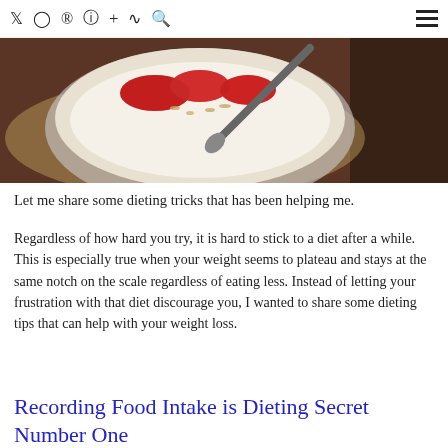Social icons: Twitter, Instagram, Pinterest, Facebook, Plus, RSS, Search | Hamburger menu
[Figure (photo): Overhead view of a bowl of yogurt topped with sliced strawberries and oats, with a spoon, on a wooden board]
Let me share some dieting tricks that has been helping me.
Regardless of how hard you try, it is hard to stick to a diet after a while.  This is especially true when your weight seems to plateau and stays at the same notch on the scale regardless of eating less. Instead of letting your frustration with that diet discourage you, I wanted to share some dieting tips that can help with your weight loss.
Recording Food Intake is Dieting Secret Number One